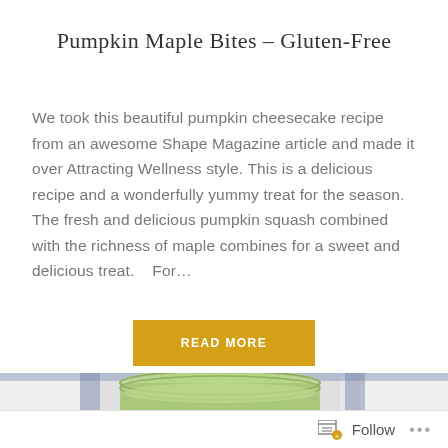Pumpkin Maple Bites – Gluten-Free
We took this beautiful pumpkin cheesecake recipe from an awesome Shape Magazine article and made it over Attracting Wellness style. This is a delicious recipe and a wonderfully yummy treat for the season. The fresh and delicious pumpkin squash combined with the richness of maple combines for a sweet and delicious treat.    For…
[Figure (other): READ MORE button in golden/amber color]
[Figure (photo): Partial photo showing a green smoothie or drink in a glass jar on a blue and white checkered cloth/towel background]
Follow  •••